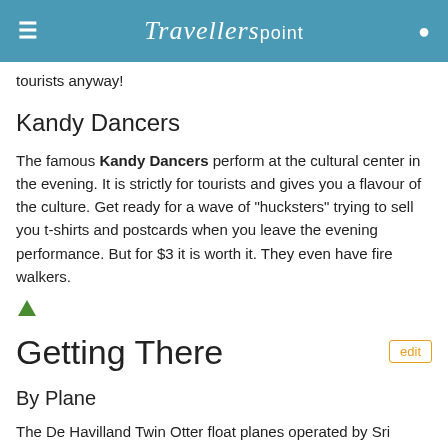Travellerspoint
tourists anyway!
Kandy Dancers
The famous Kandy Dancers perform at the cultural center in the evening. It is strictly for tourists and gives you a flavour of the culture. Get ready for a wave of "hucksters" trying to sell you t-shirts and postcards when you leave the evening performance. But for $3 it is worth it. They even have fire walkers.
Getting There
By Plane
The De Havilland Twin Otter float planes operated by Sri Lanka Airlines...